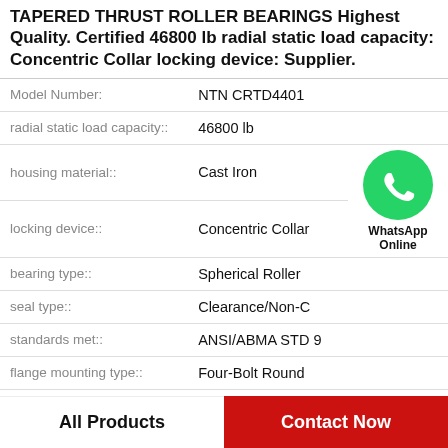TAPERED THRUST ROLLER BEARINGS Highest Quality. Certified 46800 lb radial static load capacity: Concentric Collar locking device: Supplier.
| Attribute | Value |
| --- | --- |
| Model Number: | NTN CRTD4401 |
| radial static load capacity:: | 46800 lb |
| housing material:: | Cast Iron |
| locking device:: | Concentric Collar |
| bearing type:: | Spherical Roller |
| seal type:: | Clearance/Non-C |
| standards met:: | ANSI/ABMA STD 9 |
| flange mounting type:: | Four-Bolt Round |
[Figure (logo): WhatsApp Online green phone icon with text 'WhatsApp Online']
All Products
Contact Now